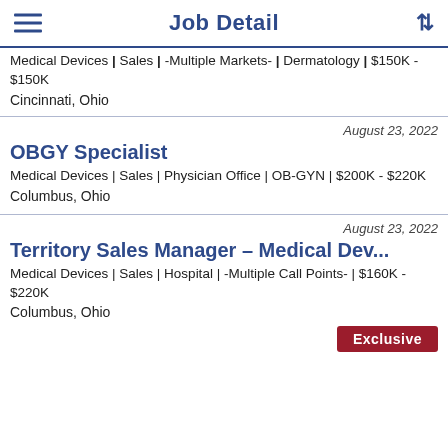Job Detail
Medical Devices | Sales | -Multiple Markets- | Dermatology | $150K - $150K
Cincinnati, Ohio
August 23, 2022
OBGY Specialist
Medical Devices | Sales | Physician Office | OB-GYN | $200K - $220K
Columbus, Ohio
August 23, 2022
Territory Sales Manager – Medical Dev...
Medical Devices | Sales | Hospital | -Multiple Call Points- | $160K - $220K
Columbus, Ohio
Exclusive